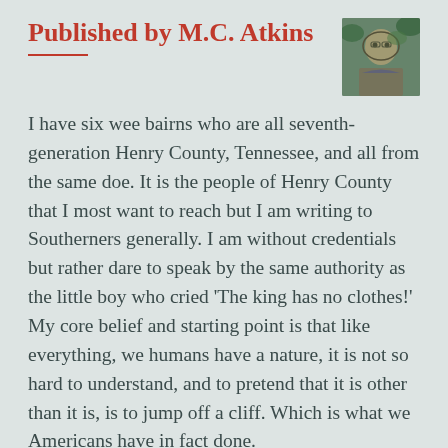Published by M.C. Atkins
[Figure (photo): Author photo of M.C. Atkins, a person wearing glasses outdoors with foliage in background]
I have six wee bairns who are all seventh-generation Henry County, Tennessee, and all from the same doe. It is the people of Henry County that I most want to reach but I am writing to Southerners generally. I am without credentials but rather dare to speak by the same authority as the little boy who cried 'The king has no clothes!' My core belief and starting point is that like everything, we humans have a nature, it is not so hard to understand, and to pretend that it is other than it is, is to jump off a cliff. Which is what we Americans have in fact done.
View all posts by M.C. Atkins